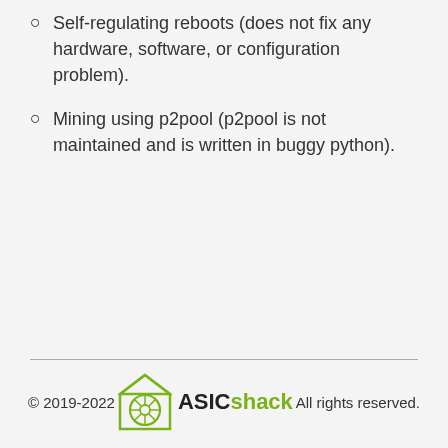Self-regulating reboots (does not fix any hardware, software, or configuration problem).
Mining using p2pool (p2pool is not maintained and is written in buggy python).
© 2019-2022   ASICshack   All rights reserved.